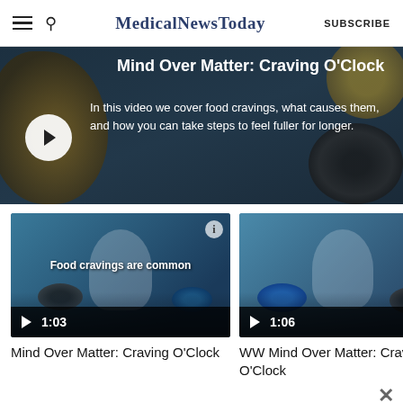MedicalNewsToday
[Figure (screenshot): Hero video banner: Mind Over Matter: Craving O'Clock. Dark background with food items. Play button on left, text: 'In this video we cover food cravings, what causes them, and how you can take steps to feel fuller for longer.']
[Figure (screenshot): Video thumbnail 1: Food cravings are common. Duration 1:03. Older man near refrigerator with donuts.]
Mind Over Matter: Craving O'Clock
[Figure (screenshot): Video thumbnail 2: WW Mind Over Matter: Craving O'Clock. Duration 1:06. WW badge visible.]
WW Mind Over Matter: Craving O'Clock
ADVERTISEMENT
[Figure (screenshot): Advertisement banner: Get the MNT newsletter. Subscribe to receive our top news articles. SUBSCRIBE button.]